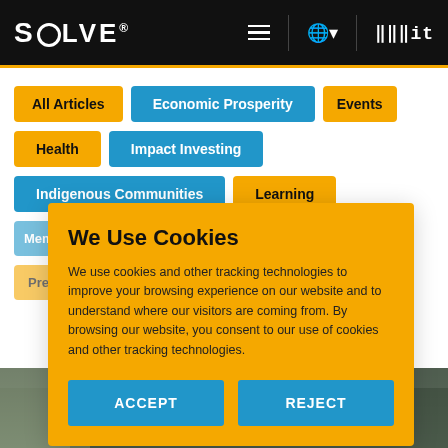SOLVE® MIT
All Articles
Economic Prosperity
Events
Health
Impact Investing
Indigenous Communities
Learning
Membership (partial)
Partner Challenges (partial)
Partnerships (partial)
Press (partial)
Sustainability (partial)
We Use Cookies
We use cookies and other tracking technologies to improve your browsing experience on our website and to understand where our visitors are coming from. By browsing our website, you consent to our use of cookies and other tracking technologies.
ACCEPT
REJECT
[Figure (photo): Photo strip at bottom showing people at an event]